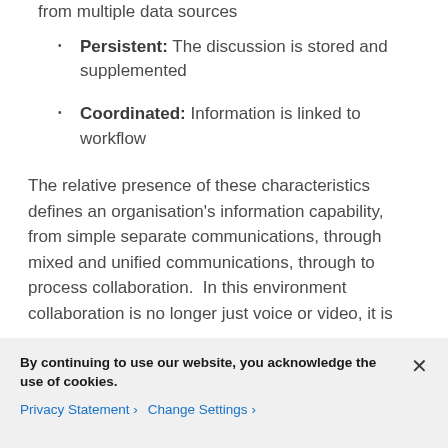from multiple data sources
Persistent: The discussion is stored and supplemented
Coordinated: Information is linked to workflow
The relative presence of these characteristics defines an organisation's information capability, from simple separate communications, through mixed and unified communications, through to process collaboration.  In this environment collaboration is no longer just voice or video, it is
By continuing to use our website, you acknowledge the use of cookies.
Privacy Statement > Change Settings >